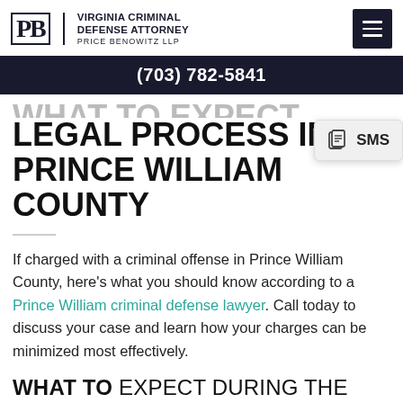VIRGINIA CRIMINAL DEFENSE ATTORNEY PRICE BENOWITZ LLP
(703) 782-5841
WHAT TO EXPECT FROM THE LEGAL PROCESS IN PRINCE WILLIAM COUNTY
[Figure (screenshot): SMS popup overlay with chat icon]
If charged with a criminal offense in Prince William County, here’s what you should know according to a Prince William criminal defense lawyer. Call today to discuss your case and learn how your charges can be minimized most effectively.
WHAT TO EXPECT DURING THE ARREST PROCESS